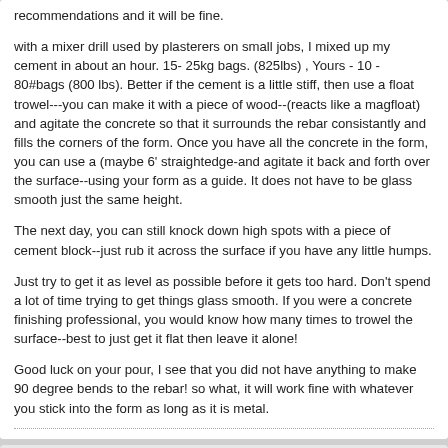recommendations and it will be fine.

with a mixer drill used by plasterers on small jobs, I mixed up my cement in about an hour. 15- 25kg bags. (825lbs) , Yours - 10 - 80#bags (800 lbs). Better if the cement is a little stiff, then use a float trowel---you can make it with a piece of wood--(reacts like a magfloat) and agitate the concrete so that it surrounds the rebar consistantly and fills the corners of the form. Once you have all the concrete in the form, you can use a (maybe 6' straightedge-and agitate it back and forth over the surface--using your form as a guide. It does not have to be glass smooth just the same height.

The next day, you can still knock down high spots with a piece of cement block--just rub it across the surface if you have any little humps.

Just try to get it as level as possible before it gets too hard. Don't spend a lot of time trying to get things glass smooth. If you were a concrete finishing professional, you would know how many times to trowel the surface--best to just get it flat then leave it alone!

Good luck on your pour, I see that you did not have anything to make 90 degree bends to the rebar! so what, it will work fine with whatever you stick into the form as long as it is metal.
david s
Il Pizzaiolo
Join Date: Mar 2007   Posts: 8158